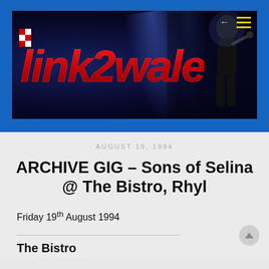[Figure (screenshot): link2wales website banner with red stylized logo text on dark blue stage background with performer silhouette and spotlight effects. Hamburger menu icon in top right.]
AUGUST 19, 1994
ARCHIVE GIG – Sons of Selina @ The Bistro, Rhyl
Friday 19th August 1994
The Bistro